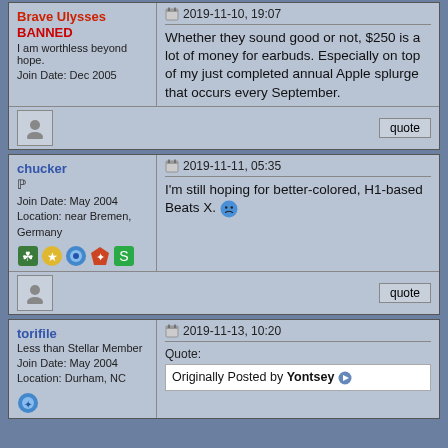Brave Ulysses
BANNED
I am worthless beyond hope.
Join Date: Dec 2005
[2019-11-10, 19:07]
Whether they sound good or not, $250 is a lot of money for earbuds. Especially on top of my just completed annual Apple splurge that occurs every September.
[quote button]
chucker
P
Join Date: May 2004
Location: near Bremen, Germany
[badges]
[2019-11-11, 05:35]
I'm still hoping for better-colored, H1-based Beats X. [sad emoji]
[quote button]
torifile
Less than Stellar Member
Join Date: May 2004
Location: Durham, NC
[badge]
[2019-11-13, 10:20]
Quote:
Originally Posted by Yontsey [arrow icon]